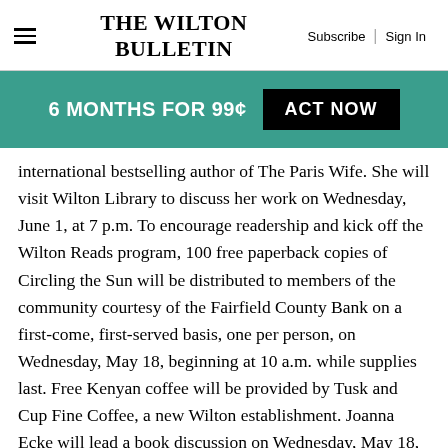The Wilton Bulletin — Subscribe | Sign In
6 MONTHS FOR 99¢   ACT NOW
international bestselling author of The Paris Wife. She will visit Wilton Library to discuss her work on Wednesday, June 1, at 7 p.m. To encourage readership and kick off the Wilton Reads program, 100 free paperback copies of Circling the Sun will be distributed to members of the community courtesy of the Fairfield County Bank on a first-come, first-served basis, one per person, on Wednesday, May 18, beginning at 10 a.m. while supplies last. Free Kenyan coffee will be provided by Tusk and Cup Fine Coffee, a new Wilton establishment. Joanna Ecke will lead a book discussion on Wednesday, May 18, from 7 to 8:30 p.m. Additional programs including a daytime book discussion with Susan Boyar, film screenings of Out of Africa and The African Queen and some family programs are all part of the Wilton Reads events. For more programs, information